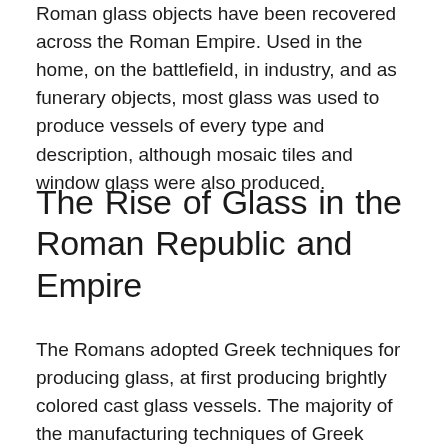Roman glass objects have been recovered across the Roman Empire. Used in the home, on the battlefield, in industry, and as funerary objects, most glass was used to produce vessels of every type and description, although mosaic tiles and window glass were also produced.
The Rise of Glass in the Roman Republic and Empire
The Romans adopted Greek techniques for producing glass, at first producing brightly colored cast glass vessels. The majority of the manufacturing techniques of Greek origin were time-consuming, and produced a heavy, thick-walled vessel that required much finishing. Plus, importing raw materials for the production of raw glass limited its use – and made it an